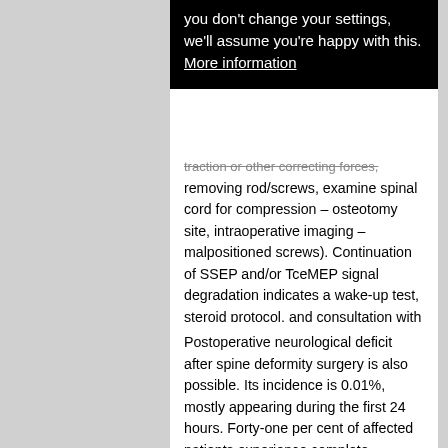you don't change your settings, we'll assume you're happy with this. More information
traction or other correcting forces, removing rod/screws, examine spinal cord for compression – osteotomy site, intraoperative imaging – malpositioned screws). Continuation of SSEP and/or TceMEP signal degradation indicates a wake-up test, steroid protocol, and consultation with a college (completing or staged surgery).11 The same algorithm is generally accepted.25
Postoperative neurological deficit after spine deformity surgery is also possible. Its incidence is 0.01%, mostly appearing during the first 24 hours. Forty-one per cent of affected patients experience complete neurologic recovery, 26% partial, and 33% no recovery.26 None of the monitoring techniques are able to predict a